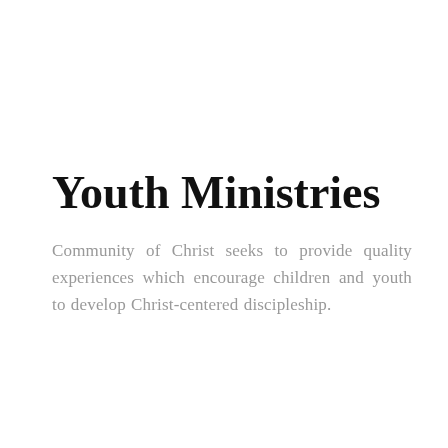Youth Ministries
Community of Christ seeks to provide quality experiences which encourage children and youth to develop Christ-centered discipleship.